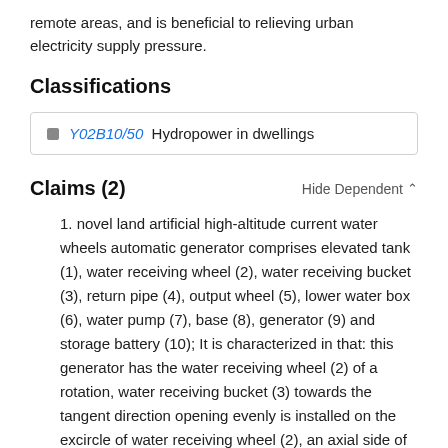remote areas, and is beneficial to relieving urban electricity supply pressure.
Classifications
Y02B10/50  Hydropower in dwellings
Claims (2)
1. novel land artificial high-altitude current water wheels automatic generator comprises elevated tank (1), water receiving wheel (2), water receiving bucket (3), return pipe (4), output wheel (5), lower water box (6), water pump (7), base (8), generator (9) and storage battery (10); It is characterized in that: this generator has the water receiving wheel (2) of a rotation, water receiving bucket (3) towards the tangent direction opening evenly is installed on the excircle of water receiving wheel (2), an axial side of water receiving wheel (2) is equipped with output wheel (5), top at corresponding water receiving bucket (3) opening in the top of water receiving wheel (2), water receiving bucket (3) correspondence is equipped with elevated tank (1), the water